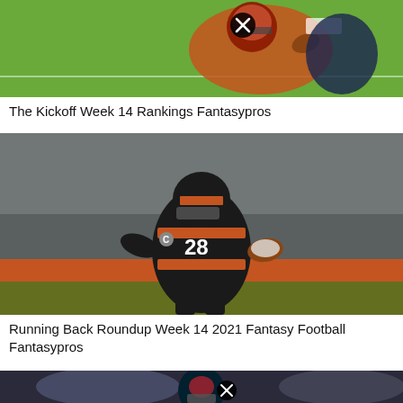[Figure (photo): NFL running back in orange Denver Broncos uniform catching a football, running on field. Close-up action shot with a close/X button overlay.]
The Kickoff Week 14 Rankings Fantasypros
[Figure (photo): Cincinnati Bengals running back number 28 in black and orange uniform running with the football.]
Running Back Roundup Week 14 2021 Fantasy Football Fantasypros
[Figure (photo): Houston Texans player in dark uniform with helmet visible, action shot, with a close/X button overlay.]